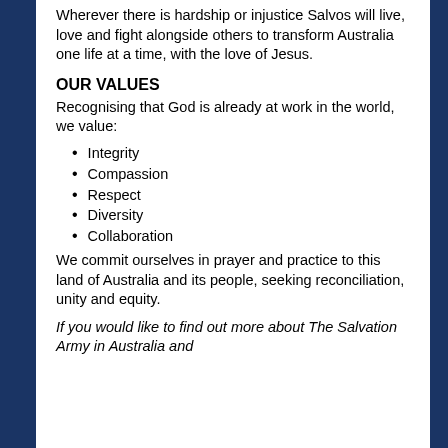Wherever there is hardship or injustice Salvos will live, love and fight alongside others to transform Australia one life at a time, with the love of Jesus.
OUR VALUES
Recognising that God is already at work in the world, we value:
Integrity
Compassion
Respect
Diversity
Collaboration
We commit ourselves in prayer and practice to this land of Australia and its people, seeking reconciliation, unity and equity.
If you would like to find out more about The Salvation Army in Australia and